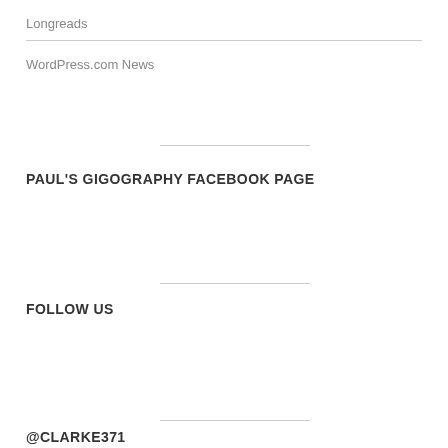Longreads
WordPress.com News
PAUL'S GIGOGRAPHY FACEBOOK PAGE
FOLLOW US
@CLARKE371